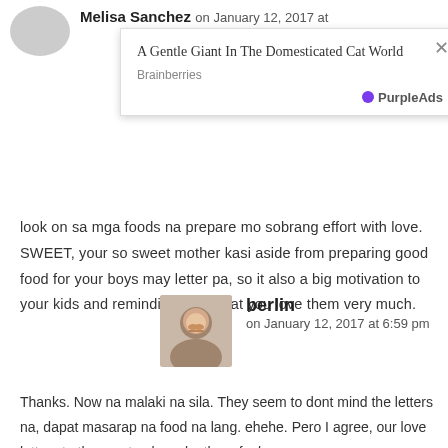Melisa Sanchez on January 12, 2017 at
[Figure (infographic): Ad popup box with close button showing title 'A Gentle Giant In The Domesticated Cat World', source 'Brainberries', and PurpleAds branding]
look on sa mga foods na prepare mo sobrang effort with love. SWEET, your so sweet mother kasi aside from preparing good food for your boys may letter pa, so it also a big motivation to your kids and reminding them that you love them very much.
berlin on January 12, 2017 at 6:59 pm
Thanks. Now na malaki na sila. They seem to dont mind the letters na, dapat masarap na food na lang. ehehe. Pero I agree, our love letters to them not only make them feel